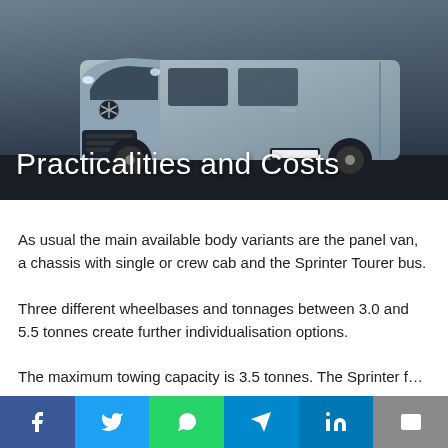[Figure (photo): Front view of a Mercedes-Benz Sprinter panel van in silver, parked on a dark background]
Practicalities and Costs
As usual the main available body variants are the panel van, a chassis with single or crew cab and the Sprinter Tourer bus.
Three different wheelbases and tonnages between 3.0 and 5.5 tonnes create further individualisation options.
The maximum towing capacity is 3.5 tonnes. The Sprinter f…
[Figure (infographic): Social media sharing bar with Facebook, Twitter, WhatsApp, Telegram, LinkedIn, and Email buttons]